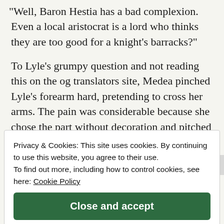"Well, Baron Hestia has a bad complexion. Even a local aristocrat is a lord who thinks they are too good for a knight's barracks?"
To Lyle's grumpy question and not reading this on the og translators site, Medea pinched Lyle's forearm hard, pretending to cross her arms. The pain was considerable because she chose the part without decoration and pitched with her nails. Lyle almost made a loud noise and looked at Medea.
Privacy & Cookies: This site uses cookies. By continuing to use this website, you agree to their use.
To find out more, including how to control cookies, see here: Cookie Policy
Close and accept